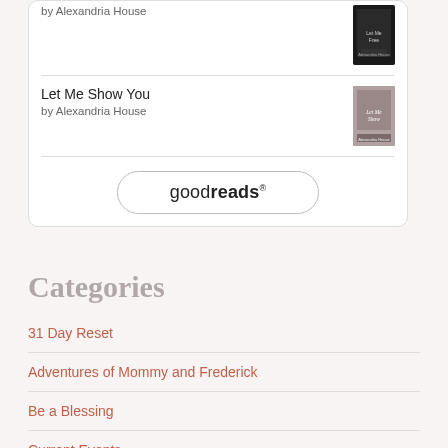by Alexandria House
Let Me Show You
by Alexandria House
[Figure (logo): Goodreads button/logo with rounded border]
Categories
31 Day Reset
Adventures of Mommy and Frederick
Be a Blessing
Current Events